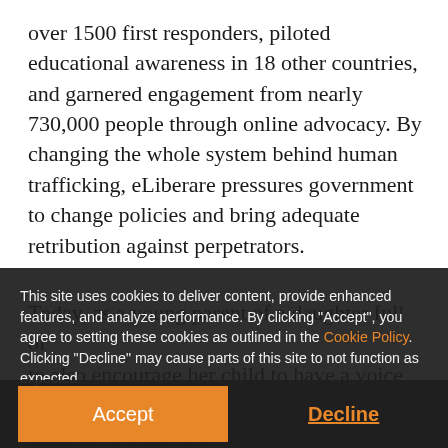over 1500 first responders, piloted educational awareness in 18 other countries, and garnered engagement from nearly 730,000 people through online advocacy. By changing the whole system behind human trafficking, eLiberare pressures government to change policies and bring adequate retribution against perpetrators.
Today, as a young parent of a daughter full of
This site uses cookies to deliver content, provide enhanced features, and analyze performance. By clicking "Accept", you agree to setting these cookies as outlined in the Cookie Policy. Clicking "Decline" may cause parts of this site to not function as expected.
to also encourage her child to have a voice, Ioana
aspires to teach her daughter the power of saying
"no", setting her own boundaries, and defining her
own path to success. While raising her daughter in a
world more different than the one she grew up in, Ioana is leading a cultural shift for young